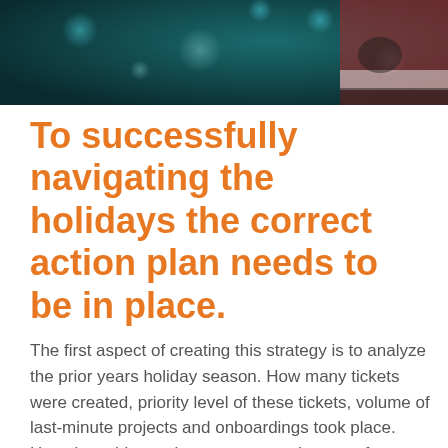[Figure (photo): Partial image of Santa Claus in red suit against a dark teal/bokeh background, cropped at top of page]
To successfully navigating the holidays the correct action plan needs to be in place.
The first aspect of creating this strategy is to analyze the prior years holiday season. How many tickets were created, priority level of these tickets, volume of last-minute projects and onboardings took place. How does this number compare to the rest of your year? If